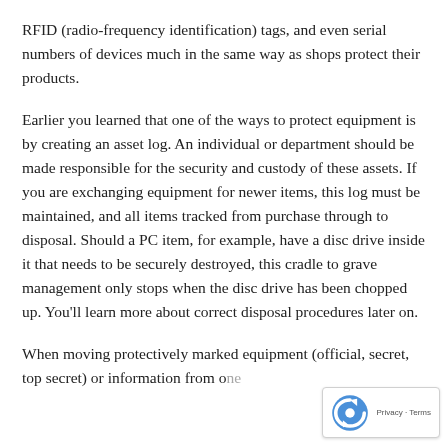RFID (radio-frequency identification) tags, and even serial numbers of devices much in the same way as shops protect their products.
Earlier you learned that one of the ways to protect equipment is by creating an asset log. An individual or department should be made responsible for the security and custody of these assets. If you are exchanging equipment for newer items, this log must be maintained, and all items tracked from purchase through to disposal. Should a PC item, for example, have a disc drive inside it that needs to be securely destroyed, this cradle to grave management only stops when the disc drive has been chopped up. You'll learn more about correct disposal procedures later on.
When moving protectively marked equipment (official, secret, top secret) or information from o...